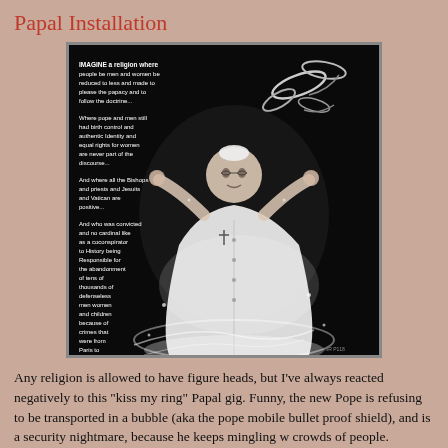Papal Installation
[Figure (illustration): Black and white artistic illustration of a glowing Pope figure in white robes with arms raised, surrounded by swirling light effects. Contains handwritten text in the upper left describing 'Imagine a religion where people be non and women be reduced to less and made to please the papacy and to follow the doctrine...' and further paragraphs. Dark background with dramatic light emanating from the figure.]
Any religion is allowed to have figure heads, but I've always reacted negatively to this "kiss my ring" Papal gig. Funny, the new Pope is refusing to be transported in a bubble (aka the pope mobile bullet proof shield), and is a security nightmare, because he keeps mingling w crowds of people.
It is refreshing to hear him say- help the poor, after so much